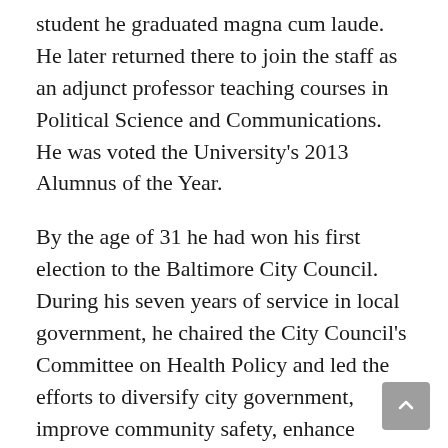student he graduated magna cum laude. He later returned there to join the staff as an adjunct professor teaching courses in Political Science and Communications. He was voted the University's 2013 Alumnus of the Year.
By the age of 31 he had won his first election to the Baltimore City Council. During his seven years of service in local government, he chaired the City Council's Committee on Health Policy and led the efforts to diversify city government, improve community safety, enhance business development and divest city funds from the then apartheid government of South Africa.
He enrolled in and graduated from Johns Hopkins University in 1984, earning a master's degree in Liberal Arts with a concentration in International